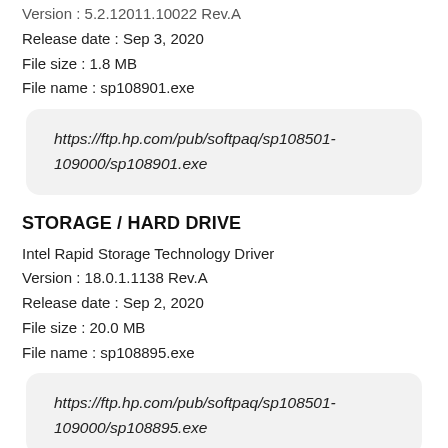Version : 5.2.12011.10022 Rev.A
Release date : Sep 3, 2020
File size : 1.8 MB
File name : sp108901.exe
https://ftp.hp.com/pub/softpaq/sp108501-109000/sp108901.exe
STORAGE / HARD DRIVE
Intel Rapid Storage Technology Driver
Version : 18.0.1.1138 Rev.A
Release date : Sep 2, 2020
File size : 20.0 MB
File name : sp108895.exe
https://ftp.hp.com/pub/softpaq/sp108501-109000/sp108895.exe